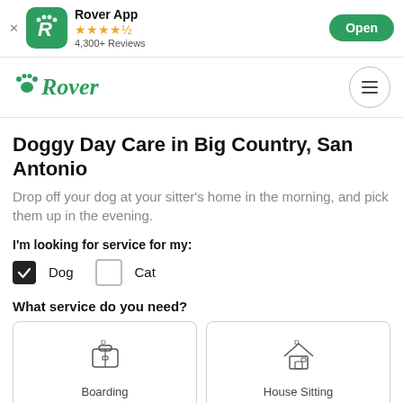[Figure (screenshot): App banner showing Rover App with green icon, 4.5 star rating, 4,300+ Reviews, and Open button]
[Figure (logo): Rover logo in green with paw print icon and hamburger menu]
Doggy Day Care in Big Country, San Antonio
Drop off your dog at your sitter's home in the morning, and pick them up in the evening.
I'm looking for service for my:
Dog (checked), Cat (unchecked)
What service do you need?
[Figure (other): Boarding service card with suitcase icon]
[Figure (other): House Sitting service card with house icon]